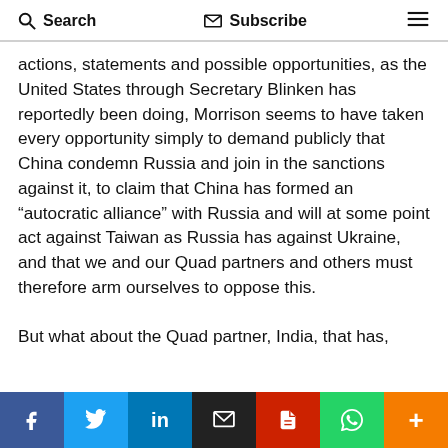Search  Subscribe  ☰
actions, statements and possible opportunities, as the United States through Secretary Blinken has reportedly been doing, Morrison seems to have taken every opportunity simply to demand publicly that China condemn Russia and join in the sanctions against it, to claim that China has formed an “autocratic alliance” with Russia and will at some point act against Taiwan as Russia has against Ukraine, and that we and our Quad partners and others must therefore arm ourselves to oppose this.

But what about the Quad partner, India, that has,